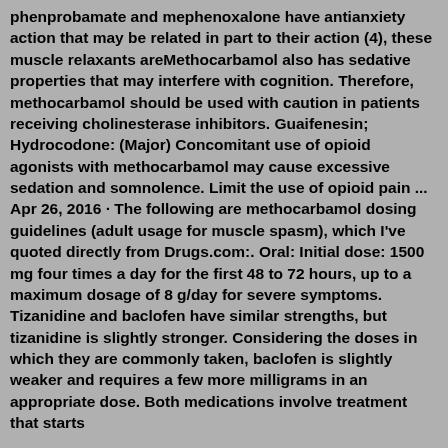phenprobamate and mephenoxalone have antianxiety action that may be related in part to their action (4), these muscle relaxants areMethocarbamol also has sedative properties that may interfere with cognition. Therefore, methocarbamol should be used with caution in patients receiving cholinesterase inhibitors. Guaifenesin; Hydrocodone: (Major) Concomitant use of opioid agonists with methocarbamol may cause excessive sedation and somnolence. Limit the use of opioid pain ... Apr 26, 2016 · The following are methocarbamol dosing guidelines (adult usage for muscle spasm), which I've quoted directly from Drugs.com:. Oral: Initial dose: 1500 mg four times a day for the first 48 to 72 hours, up to a maximum dosage of 8 g/day for severe symptoms. Tizanidine and baclofen have similar strengths, but tizanidine is slightly stronger. Considering the doses in which they are commonly taken, baclofen is slightly weaker and requires a few more milligrams in an appropriate dose. Both medications involve treatment that starts with smaller doses that increase from there.